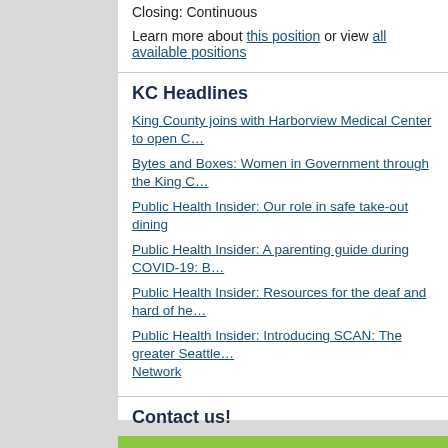Closing: Continuous
Learn more about this position or view all available positions
KC Headlines
King County joins with Harborview Medical Center to open C…
Bytes and Boxes: Women in Government through the King C…
Public Health Insider: Our role in safe take-out dining
Public Health Insider: A parenting guide during COVID-19: B…
Public Health Insider: Resources for the deaf and hard of he…
Public Health Insider: Introducing SCAN: The greater Seattle… Network
Contact us!
Interested in sharing a news story, or have a news tip? Click here… News. For questions or suggestions, please contact KCEmployee…